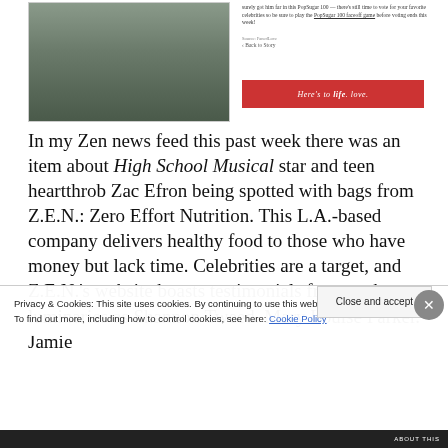[Figure (photo): Photo of person walking, carrying bags, with bicycle in background]
surely got him far in this PopSugar 100 — there's still time to vote for your favorite celebrities so be sure to play the PopSugar 100 faceoff game before voting ends this week!
Source: FanedLove
‹ Back to Story
[Figure (other): Red button/banner reading: Here's to life. love.]
In my Zen news feed this past week there was an item about High School Musical star and teen heartthrob Zac Efron being spotted with bags from Z.E.N.: Zero Effort Nutrition. This L.A.-based company delivers healthy food to those who have money but lack time. Celebrities are a target, and Z.E.N.'s website boasts testimonials from such luminaries as Shannon Tweed. Mary Louise Parker. Jamie
Privacy & Cookies: This site uses cookies. By continuing to use this website, you agree to their use.
To find out more, including how to control cookies, see here: Cookie Policy
Close and accept